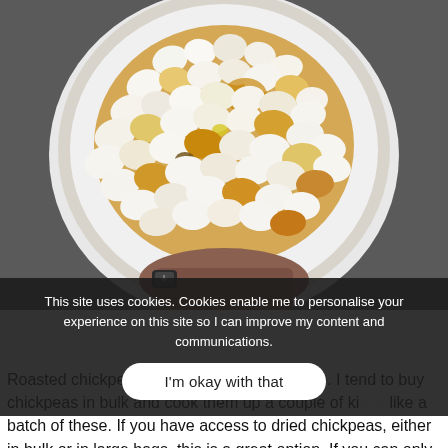[Figure (photo): Overhead view of a white bowl filled with popcorn (some pieces appear to have caramel or flavoring), held by a hand with a watch visible. The background is a gray surface.]
This site uses cookies. Cookies enable me to personalise your experience on this site so I can improve my content and communications.
I'm okay with that
Roasted chickpeas are another snack I make. I tend to buy chickpeas in bulk and cook them up a couple of ki... like a batch of these. If you have access to dried chickpeas, either in bulk or in large bags, this is a great option. If you can only buy the tins, I probably wouldn't